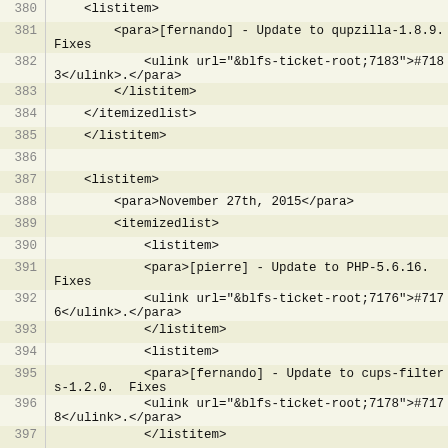380    <listitem>
381        <para>[fernando] - Update to qupzilla-1.8.9. Fixes
382            <ulink url="&blfs-ticket-root;7183">#7183</ulink>.</para>
383        </listitem>
384    </itemizedlist>
385    </listitem>
386
387    <listitem>
388        <para>November 27th, 2015</para>
389        <itemizedlist>
390            <listitem>
391                <para>[pierre] - Update to PHP-5.6.16. Fixes
392            <ulink url="&blfs-ticket-root;7176">#7176</ulink>.</para>
393            </listitem>
394            <listitem>
395                <para>[fernando] - Update to cups-filters-1.2.0. Fixes
396            <ulink url="&blfs-ticket-root;7178">#7178</ulink>.</para>
397    </listitem>